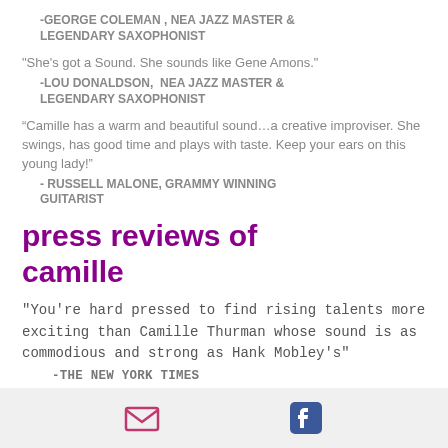-GEORGE COLEMAN , NEA JAZZ MASTER & LEGENDARY SAXOPHONIST
"She's got a Sound. She sounds like Gene Amons." -LOU DONALDSON, NEA JAZZ MASTER & LEGENDARY SAXOPHONIST
“Camille has a warm and beautiful sound…a creative improviser. She swings, has good time and plays with taste. Keep your ears on this young lady!” - RUSSELL MALONE, GRAMMY WINNING GUITARIST
press reviews of camille
"You're hard pressed to find rising talents more exciting than Camille Thurman whose sound is as commodious and strong as Hank Mobley's" -THE NEW YORK TIMES
[email icon] [facebook icon]